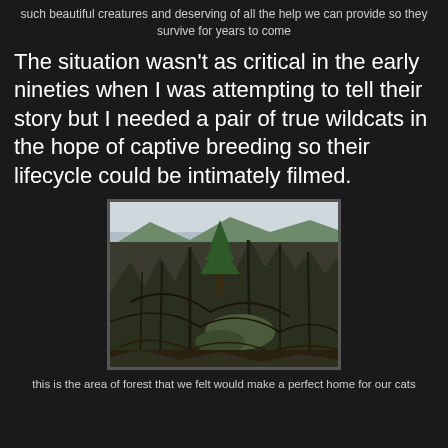such beautiful creatures and deserving of all the help we can provide so they survive for years to come
The situation wasn't as critical in the early nineties when I was attempting to tell their story but I needed a pair of true wildcats in the hope of captive breeding so their lifecycle could be intimately filmed.
[Figure (photo): A dense woodland/forest area with bare deciduous trees, some conifer trees, rocky ground covered in moss, and tangled branches. The scene appears to be in a highland or Scottish setting.]
this is the area of forest that we felt would make a perfect home for our cats